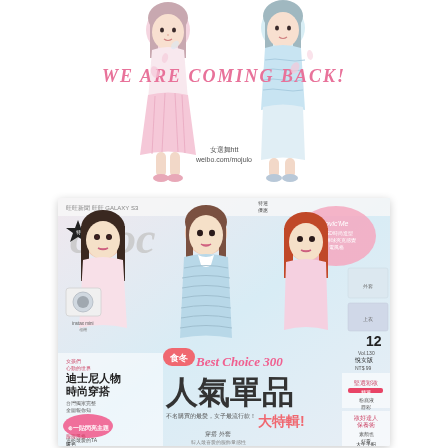[Figure (photo): Advertisement at top of page showing two young women in pastel outfits (pink and light blue) with text 'WE ARE COMING BACK!' in pink italic letters, and a social media URL below.]
[Figure (photo): Magazine cover of 'Choc' magazine Vol.130 December issue. Three young women on cover wearing pastel pink and light blue outfits. Magazine cover features Chinese text '人氣單品' (popular items) as main headline, '大特輯!' subheadline, 'Best Choice 300' text, '迪士尼人物時尚穿搭' sidebar text, and other Chinese text elements. Pink heart graphic in upper right, small product images on right side.]